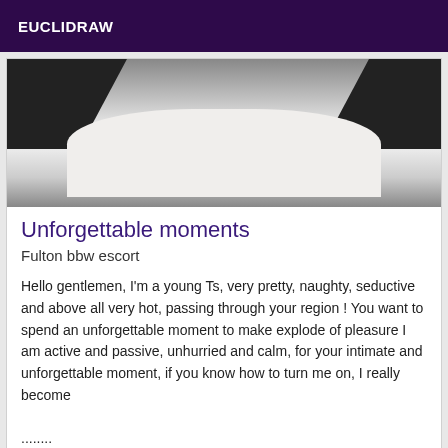EUCLIDRAW
[Figure (photo): Cropped photo showing dark boots/heels on a white surface/bedding, viewed from above]
Unforgettable moments
Fulton bbw escort
Hello gentlemen, I'm a young Ts, very pretty, naughty, seductive and above all very hot, passing through your region ! You want to spend an unforgettable moment to make explode of pleasure I am active and passive, unhurried and calm, for your intimate and unforgettable moment, if you know how to turn me on, I really become ........